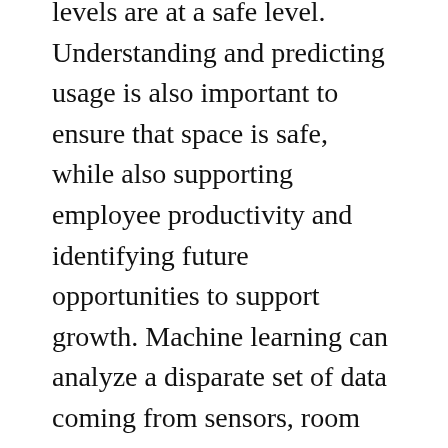levels are at a safe level. Understanding and predicting usage is also important to ensure that space is safe, while also supporting employee productivity and identifying future opportunities to support growth. Machine learning can analyze a disparate set of data coming from sensors, room booking, badging, and other siloed sources and highlight usage patterns that might be unique to a specific building, region or department. A few companies playing in this area are Digital Spaces, Density, and Vergesense.
4. Enhanced tenant and employee engagement: One of the biggest trends in commercial real estate is the explosion of employee and tenant-facing apps that aim